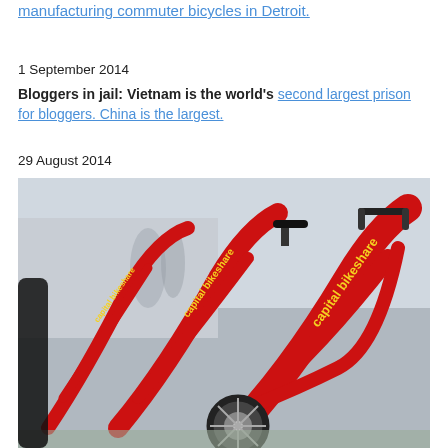manufacturing commuter bicycles in Detroit.
1 September 2014
Bloggers in jail: Vietnam is the world's second largest prison for bloggers. China is the largest.
29 August 2014
[Figure (photo): Photo of red Capital Bikeshare bicycles parked in a row, with 'capital bikeshare' text in yellow on the red frames.]